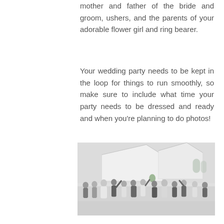mother and father of the bride and groom, ushers, and the parents of your adorable flower girl and ring bearer.
Your wedding party needs to be kept in the loop for things to run smoothly, so make sure to include what time your party needs to be dressed and ready and when you're planning to do photos!
[Figure (photo): A wedding party group photo outside a white chapel or tent structure. People in formal attire including bridesmaids in light dresses and groomsmen in dark suits are celebrating, some with arms raised.]